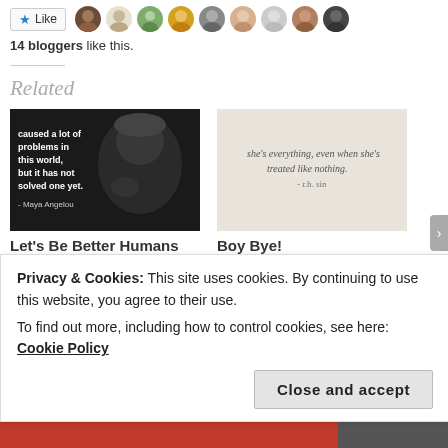[Figure (other): Like button with star icon and row of blogger avatar photos]
14 bloggers like this.
[Figure (photo): Black and white photo of Maya Angelou with quote: 'caused a lot of problems in this world, but it has not solved one yet. - Maya Angelou']
Let's Be Better Humans
11/23/2020
[Figure (photo): Image with handwritten text: 'she's everything, even when she's treated like nothing. - r.h. sin']
Boy Bye!
01/08/2021
In "Décima"
Privacy & Cookies: This site uses cookies. By continuing to use this website, you agree to their use.
To find out more, including how to control cookies, see here: Cookie Policy